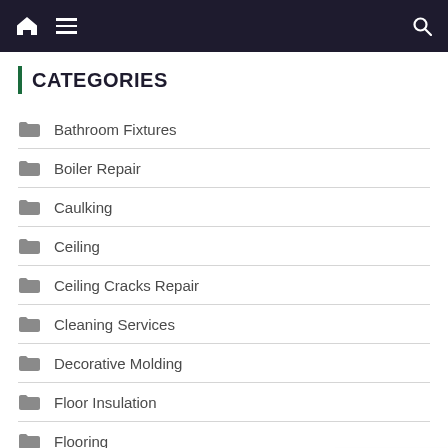Navigation bar with home icon, hamburger menu, and search icon
CATEGORIES
Bathroom Fixtures
Boiler Repair
Caulking
Ceiling
Ceiling Cracks Repair
Cleaning Services
Decorative Molding
Floor Insulation
Flooring